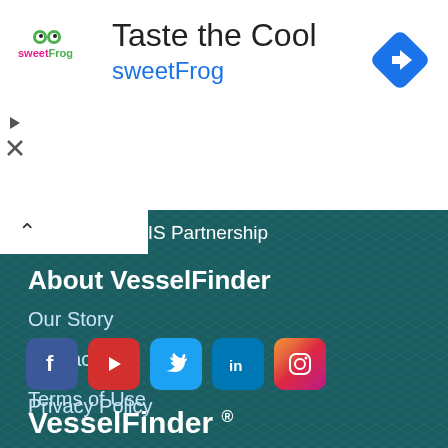[Figure (screenshot): Ad banner for sweetFrog frozen yogurt with logo, title 'Taste the Cool', subtitle 'sweetFrog', navigation icon, and ad controls]
AIS Partnership
About VesselFinder
Our Story
Contact us
Terms of Use
Privacy Policy
[Figure (infographic): Row of social media icons: Facebook, YouTube, Twitter, LinkedIn, Instagram]
VesselFinder ®